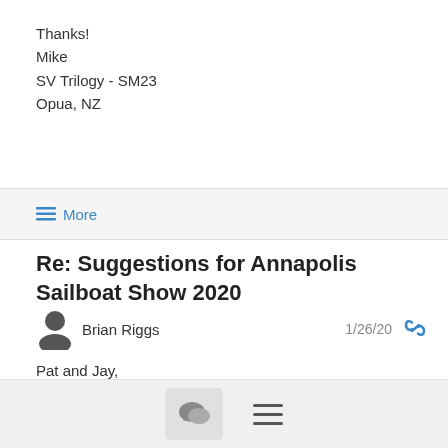Thanks!
Mike
SV Trilogy - SM23
Opua, NZ
≡ More
Re: Suggestions for Annapolis Sailboat Show 2020
Brian Riggs  1/26/20
Pat and Jay,
Thank you so much for the input! We'll look closely at the offerings, and we hope to see you, and others in the group, at and around the show.